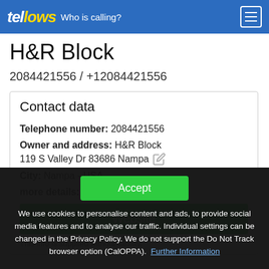tellows Who is calling?
H&R Block
2084421556 / +12084421556
Contact data
Telephone number: 2084421556
Owner and address: H&R Block 119 S Valley Dr 83686 Nampa
City: Nampa - USA
more details:
Website
This info is supplied without liability.
Accept
We use cookies to personalise content and ads, to provide social media features and to analyse our traffic. Individual settings can be changed in the Privacy Policy. We do not support the Do Not Track browser option (CalOPPA). Further Information